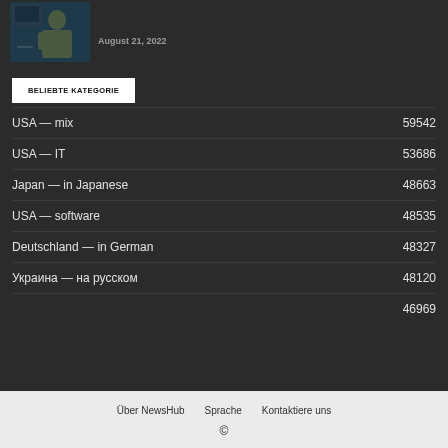[Figure (photo): Thumbnail image of a person in dark clothing against a blue/dark background, with a small screen or device visible]
August 21, 2022
BELIEBTE KATEGORIE
USA — mix  59542
USA — IT  53686
Japan — in Japanese  48663
USA — software  48535
Deutschland — in German  48327
Украина — на русском  48120
46969
Über NewsHub   Sprache   Kontaktiere uns   ©